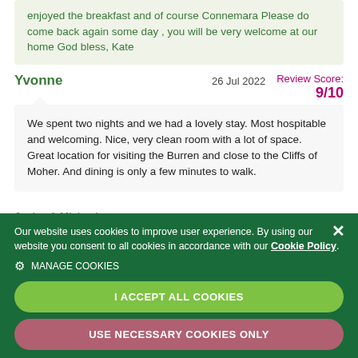enjoyed the breakfast and of course Connemara Please do come back again some day , you will be very welcome at our home God bless, Kate
Yvonne    26 Jul 2022    Review Score: 9/10
We spent two nights and we had a lovely stay. Most hospitable and welcoming. Nice, very clean room with a lot of space. Great location for visiting the Burren and close to the Cliffs of Moher. And dining is only a few minutes to walk.
Our website uses cookies to improve user experience. By using our website you consent to all cookies in accordance with our Cookie Policy.
MANAGE COOKIES
I ACCEPT ALL COOKIES
USE NECESSARY COOKIES ONLY